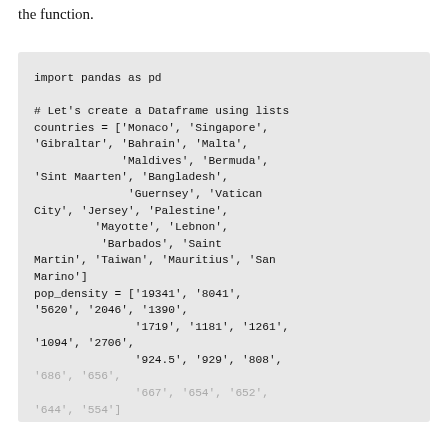the function.
import pandas as pd

# Let's create a Dataframe using lists
countries = ['Monaco', 'Singapore',
'Gibraltar', 'Bahrain', 'Malta',
             'Maldives', 'Bermuda',
'Sint Maarten', 'Bangladesh',
              'Guernsey', 'Vatican
City', 'Jersey', 'Palestine',
         'Mayotte', 'Lebnon',
          'Barbados', 'Saint
Martin', 'Taiwan', 'Mauritius', 'San
Marino']
pop_density = ['19341', '8041',
'5620', '2046', '1390',
              '1719', '1181', '1261',
'1094', '2706',
              '924.5', '929', '808',
'686', '656',
              '667', '654', '652',
'644', '554']